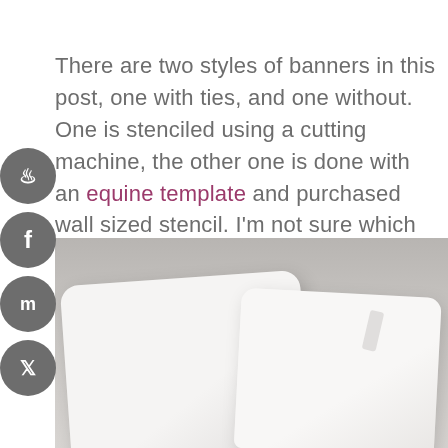There are two styles of banners in this post, one with ties, and one without.  One is stenciled using a cutting machine, the other one is done with an equine template and purchased wall sized stencil. I'm not sure which style of cushion I prefer,  but you can choose your preference.  Please let me know which style you prefer?
[Figure (photo): Two white decorative pillows/cushions against a grey background, one with ties visible at top]